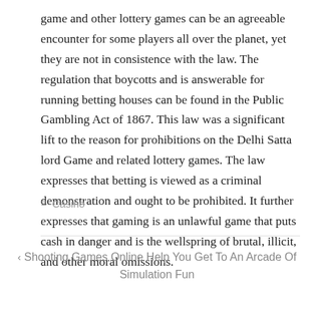game and other lottery games can be an agreeable encounter for some players all over the planet, yet they are not in consistence with the law. The regulation that boycotts and is answerable for running betting houses can be found in the Public Gambling Act of 1867. This law was a significant lift to the reason for prohibitions on the Delhi Satta lord Game and related lottery games. The law expresses that betting is viewed as a criminal demonstration and ought to be prohibited. It further expresses that gaming is an unlawful game that puts cash in danger and is the wellspring of brutal, illicit, and other moral omissions.
Casino
‹ Shooting Games Online Help You Get To An Arcade Of Simulation Fun